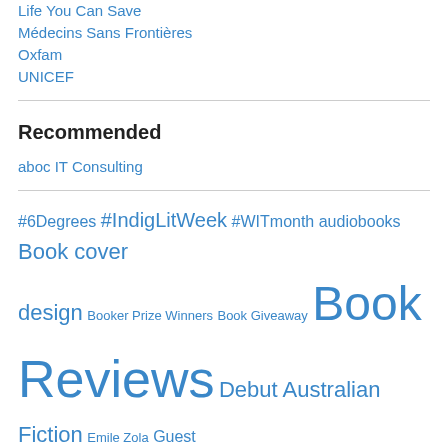Life You Can Save
Médecins Sans Frontières
Oxfam
UNICEF
Recommended
aboc IT Consulting
#6Degrees #IndigLitWeek #WITmonth audiobooks Book cover design Booker Prize Winners Book Giveaway Book Reviews Debut Australian Fiction Emile Zola Guest Reviews James Joyce MEET AN AUSSIE AUTHOR Miles Franklin Award Nominees Miles Franklin Award winners New Zealand Literature Oxford World's Classics Sensational Snippets